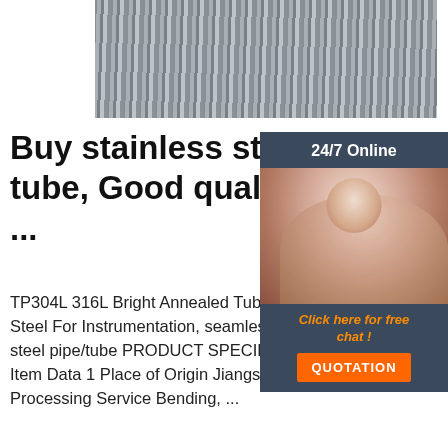[Figure (photo): Stack of stainless steel round tubes/pipes viewed from the end, showing multiple circular cross-sections]
Buy stainless steel round tube, Good quality stainless steel ...
TP304L 316L Bright Annealed Tube Stainless Steel For Instrumentation, seamless stainless steel pipe/tube PRODUCT SPECIFICATION Item Data 1 Place of Origin Jiangsu,China Processing Service Bending, ...
[Figure (screenshot): 24/7 Online chat widget with customer service representative photo and QUOTATION button]
[Figure (illustration): Get Price green button]
[Figure (illustration): TOP back-to-top icon with orange dots and text]
[Figure (photo): Dark gray metallic plate or sheet material, partially visible at bottom of page]